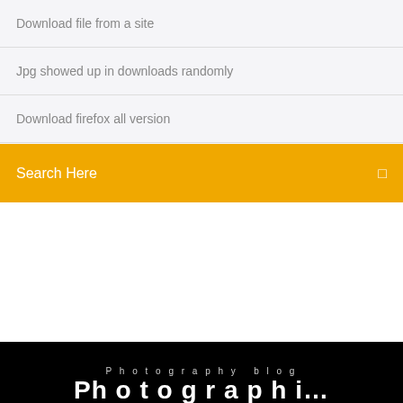Download file from a site
Jpg showed up in downloads randomly
Download firefox all version
Search Here
Photography blog
Ph...